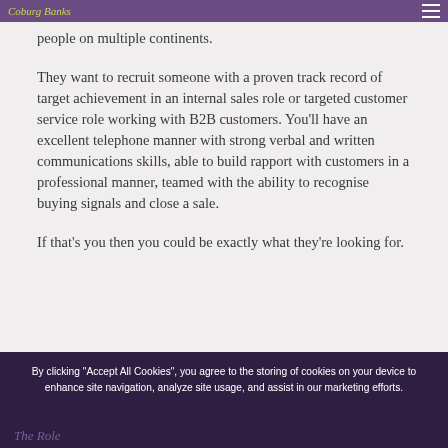Coburg Banks [logo] [menu icon]
people on multiple continents.
They want to recruit someone with a proven track record of target achievement in an internal sales role or targeted customer service role working with B2B customers. You'll have an excellent telephone manner with strong verbal and written communications skills, able to build rapport with customers in a professional manner, teamed with the ability to recognise buying signals and close a sale.
If that's you then you could be exactly what they're looking for.
By clicking "Accept All Cookies", you agree to the storing of cookies on your device to enhance site navigation, analyze site usage, and assist in our marketing efforts.
The Role